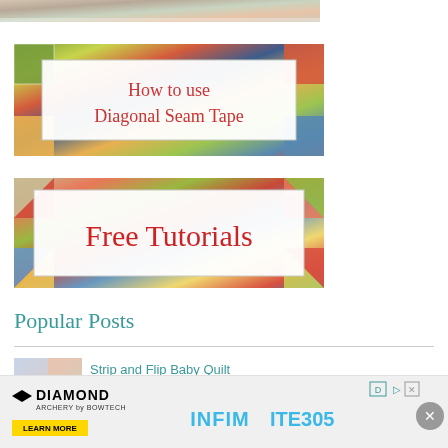[Figure (photo): Partial view of a quilt pattern at the top of the page]
[Figure (photo): Quilting tutorial card with colorful quilt background and white text box reading 'How to use Diagonal Seam Tape' in red]
[Figure (photo): Quilting tutorial card with colorful pinwheel quilt background and white text box reading 'Free Tutorials' in red]
Popular Posts
[Figure (photo): Thumbnail image of a quilt for a popular post]
Strip and Flip Baby Quilt
[Figure (photo): Advertisement banner for Diamond Archery Infinite 305]